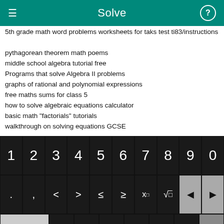Solve
5th grade math word problems worksheets for taks test ti83/instructions
pythagorean theorem math poems
middle school algebra tutorial free
Programs that solve Algebra II problems
graphs of rational and polynomial expressions
free maths sums for class 5
how to solve algebraic equations calculator
basic math "factorials" tutorials
walkthrough on solving equations GCSE
[Figure (screenshot): Calculator keyboard with numeric keys 1-9,0 in row 1; mathematical symbols (., comma, <, >, ≤, ≥, x^, √, back arrows) in row 2; f(x), x subscript, fraction, absolute value, parentheses, *, /, delete in row 3; abc, rotation, x, y, =, +, -, Solve! button in row 4.]